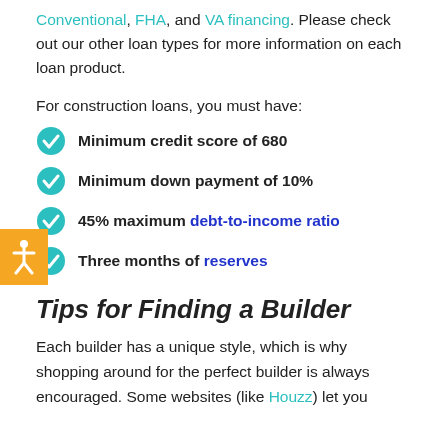Conventional, FHA, and VA financing. Please check out our other loan types for more information on each loan product.
For construction loans, you must have:
Minimum credit score of 680
Minimum down payment of 10%
45% maximum debt-to-income ratio
Three months of reserves
Tips for Finding a Builder
Each builder has a unique style, which is why shopping around for the perfect builder is always encouraged. Some websites (like Houzz) let you